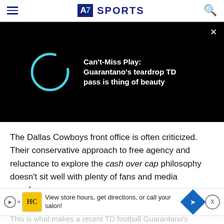AZ Sports
[Figure (screenshot): Video player loading spinner with text: Can't-Miss Play: Guarantano's teardrop TD pass is thing of beauty]
The Dallas Cowboys front office is often criticized. Their conservative approach to free agency and reluctance to explore the cash over cap philosophy doesn't sit well with plenty of fans and media members.
[Figure (infographic): Advertisement banner: View store hours, get directions, or call your salon!]
This is what makes a recent TD football Guarantano's